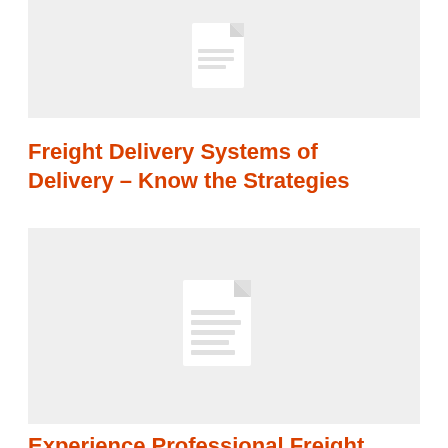[Figure (illustration): Gray placeholder card with a white document/file icon in the center (top card, partially visible)]
Freight Delivery Systems of Delivery – Know the Strategies
[Figure (illustration): Gray placeholder card with a white document/file icon in the center (bottom card)]
Experience Professional Freight